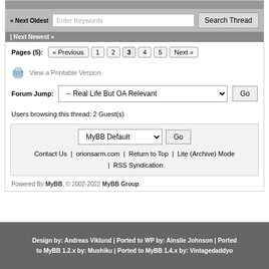« Next Oldest | Next Newest »
Pages (5): « Previous 1 2 3 4 5 Next »
View a Printable Version
Forum Jump: -- Real Life But OA Relevant
Users browsing this thread: 2 Guest(s)
MyBB Default
Contact Us | orionsarm.com | Return to Top | Lite (Archive) Mode | RSS Syndication
Powered By MyBB, © 2002-2022 MyBB Group.
Design by: Andreas Viklund | Ported to WP by: Ainslie Johnson | Ported to MyBB 1.2.x by: Mushiku | Ported to MyBB 1.4.x by: Vintagedaddyo